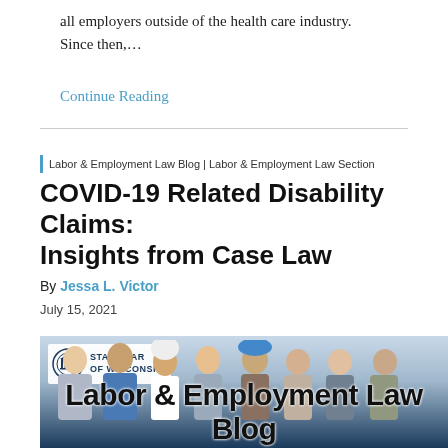all employers outside of the health care industry. Since then,…
Continue Reading
Labor & Employment Law Blog | Labor & Employment Law Section
COVID-19 Related Disability Claims: Insights from Case Law
By Jessa L. Victor
July 15, 2021
[Figure (illustration): State Bar of Wisconsin Labor & Employment Law Blog banner image showing diverse group of workers including medical professionals, chef, construction worker, and office workers]